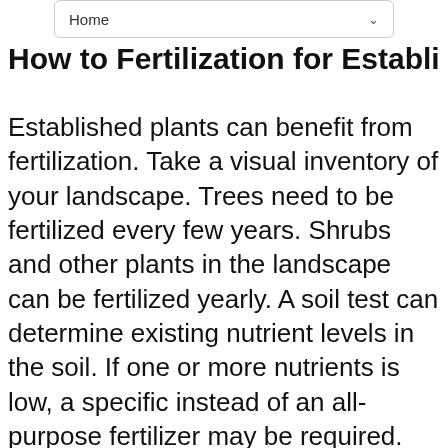Home
How to Fertilization for Established Plants
Established plants can benefit from fertilization. Take a visual inventory of your landscape. Trees need to be fertilized every few years. Shrubs and other plants in the landscape can be fertilized yearly. A soil test can determine existing nutrient levels in the soil. If one or more nutrients is low, a specific instead of an all-purpose fertilizer may be required. Fertilizers that are high in N, nitrogen, will promote green leafy growth. Excess nitrogen in the soil can cause excessive vegetative growth on plants at the expense of flower bud development. It is best to avoid fertilizing late in the season. Application should ...